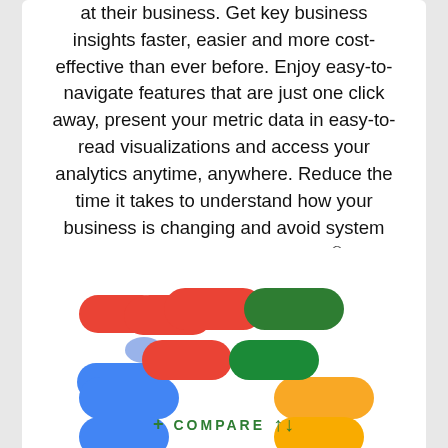at their business. Get key business insights faster, easier and more cost-effective than ever before. Enjoy easy-to-navigate features that are just one click away, present your metric data in easy-to-read visualizations and access your analytics anytime, anywhere. Reduce the time it takes to understand how your business is changing and avoid system management headaches. Visuant® is the secure, hosted or onsite, full-featured software solution.
Learn more about Visuant
[Figure (logo): Two logos side by side: a Google-colored left-pointing chevron/capsule shape (red, blue, green colors) and a green-yellow right-pointing chevron/capsule shape]
+ COMPARE |.|